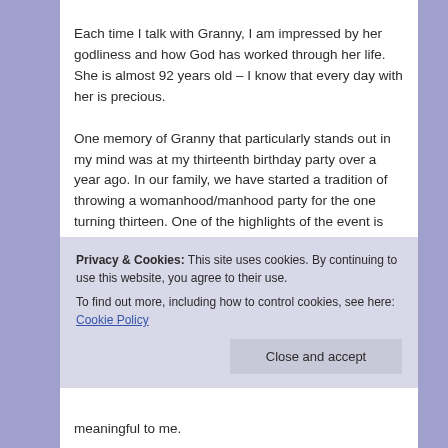Each time I talk with Granny, I am impressed by her godliness and how God has worked through her life. She is almost 92 years old – I know that every day with her is precious. One memory of Granny that particularly stands out in my mind was at my thirteenth birthday party over a year ago. In our family, we have started a tradition of throwing a womanhood/manhood party for the one turning thirteen. One of the highlights of the event is when my parents and other mentors share words of advice and encouragement with us, and invite others to do the same. I specifically recall Granny's words, sitting because she was too weak to stand for long, her loving eyes fixed on
Privacy & Cookies: This site uses cookies. By continuing to use this website, you agree to their use.
To find out more, including how to control cookies, see here: Cookie Policy
meaningful to me.